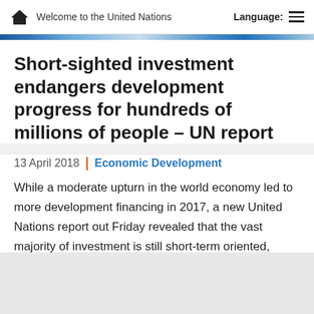Welcome to the United Nations | Language:
Short-sighted investment endangers development progress for hundreds of millions of people – UN report
13 April 2018 | Economic Development
While a moderate upturn in the world economy led to more development financing in 2017, a new United Nations report out Friday revealed that the vast majority of investment is still short-term oriented, putting global commitments to create sustainable economies at risk.